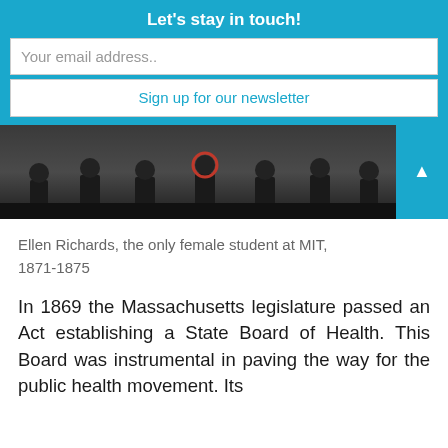Let's stay in touch!
Your email address..
Sign up for our newsletter
[Figure (photo): Black and white photograph of a group of people seated, with one figure wearing a red circular accessory visible]
Ellen Richards, the only female student at MIT, 1871-1875
In 1869 the Massachusetts legislature passed an Act establishing a State Board of Health. This Board was instrumental in paving the way for the public health movement. Its